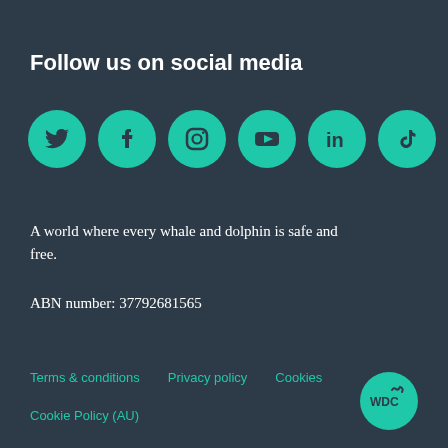Follow us on social media
[Figure (illustration): Six teal circular social media icons in a row: Twitter (bird), Facebook (f), Instagram (camera), YouTube (play button), LinkedIn (in), TikTok (musical note)]
A world where every whale and dolphin is safe and free.
ABN number: 37792681565
Terms & conditions
Privacy policy
Cookies
Cookie Policy (AU)
[Figure (logo): WDC circular teal logo with white text 'WDC' and a whale tail graphic]